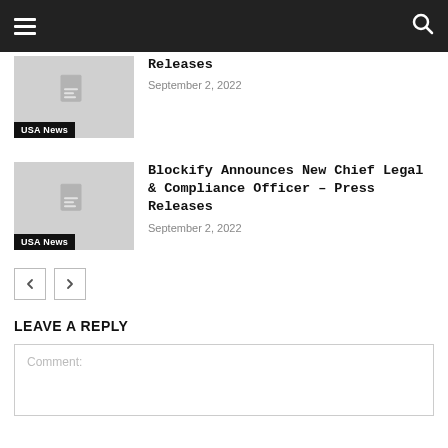[Navigation bar with hamburger menu and search icon]
[Figure (screenshot): Thumbnail image placeholder with USA News badge - first article (partially visible)]
Releases
September 2, 2022
[Figure (screenshot): Thumbnail image placeholder with USA News badge - second article]
Blockify Announces New Chief Legal & Compliance Officer – Press Releases
September 2, 2022
< >  pagination buttons
LEAVE A REPLY
Comment: